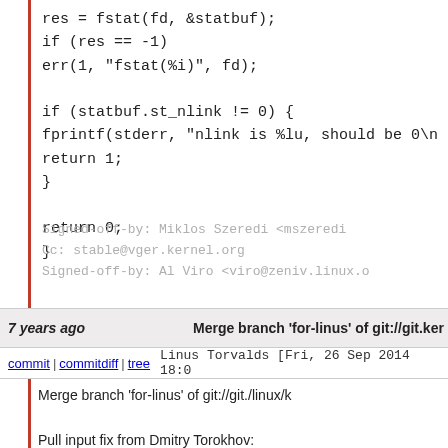res = fstat(fd, &statbuf);
if (res == -1)
err(1, "fstat(%i)", fd);

if (statbuf.st_nlink != 0) {
fprintf(stderr, "nlink is %lu, should be 0\n");
return 1;
}

return 0;
}
Signed-off-by: Miklos Szeredi <mszeredi...>
Cc: stable@vger.kernel.org
Signed-off-by: Al Viro <viro@zeniv.linux.o...>
7 years ago   Merge branch 'for-linus' of git://git.ker...
commit | commitdiff | tree   Linus Torvalds [Fri, 26 Sep 2014 18:0...
Merge branch 'for-linus' of git://git./linux/k...

Pull input fix from Dmitry Torokhov:
  "A small fixup to i8042 adding Asus X45...